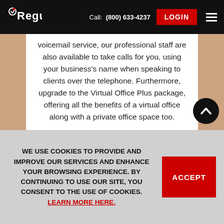Regus | Call: (800) 633-4237 | LOGIN
voicemail service, our professional staff are also available to take calls for you, using your business's name when speaking to clients over the telephone. Furthermore, upgrade to the Virtual Office Plus package, offering all the benefits of a virtual office along with a private office space too.

St. Petersburg is a popular destination for holidaymakers looking to soak up some sun in Florida's Sunshine City. As a result, the city has an abundance of good hotels that are
WE USE COOKIES TO PROVIDE AND IMPROVE OUR SERVICES AND ENHANCE YOUR BROWSING EXPERIENCE. BY CONTINUING TO USE OUR SITE, YOU CONSENT TO THE USE OF COOKIES. LEARN MORE HERE.